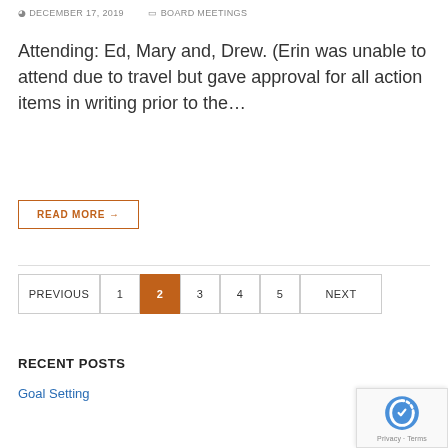DECEMBER 17, 2019   BOARD MEETINGS
Attending: Ed, Mary and, Drew. (Erin was unable to attend due to travel but gave approval for all action items in writing prior to the…
READ MORE →
PREVIOUS  1  2  3  4  5  NEXT
RECENT POSTS
Goal Setting